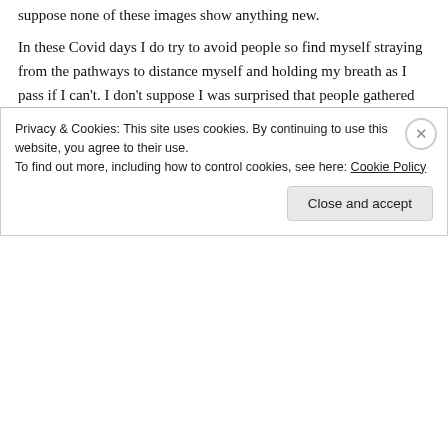suppose none of these images show anything new.
In these Covid days I do try to avoid people so find myself straying from the pathways to distance myself and holding my breath as I pass if I can't. I don't suppose I was surprised that people gathered dangerously together near the duck pond in the lower part of the park. Continue reading →
January 5, 2021    💬 8 Replies
Privacy & Cookies: This site uses cookies. By continuing to use this website, you agree to their use.
To find out more, including how to control cookies, see here: Cookie Policy
Close and accept